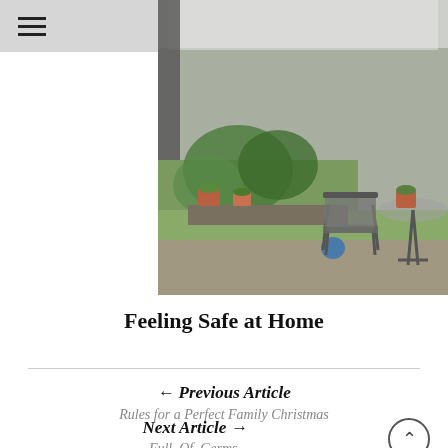[Figure (photo): Outdoor garden patio scene viewed from under a covered area, showing potted plants, a metal garden chair, a round glass table, lawn, and terracotta pots on a stone ledge.]
Feeling Safe at Home
← Previous Article
Rules for a Perfect Family Christmas
Next Article →
Full. Of. Germs.